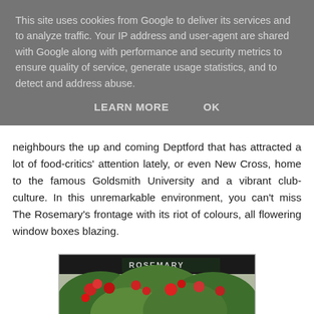This site uses cookies from Google to deliver its services and to analyze traffic. Your IP address and user-agent are shared with Google along with performance and security metrics to ensure quality of service, generate usage statistics, and to detect and address abuse.
LEARN MORE   OK
neighbours the up and coming Deptford that has attracted a lot of food-critics' attention lately, or even New Cross, home to the famous Goldsmith University and a vibrant club-culture. In this unremarkable environment, you can't miss The Rosemary's frontage with its riot of colours, all flowering window boxes blazing.
[Figure (photo): Exterior of The Rosemary restaurant with lush green foliage and red flowers in window boxes covering the front of the building, dark signage partially visible reading 'ROSEMARY']